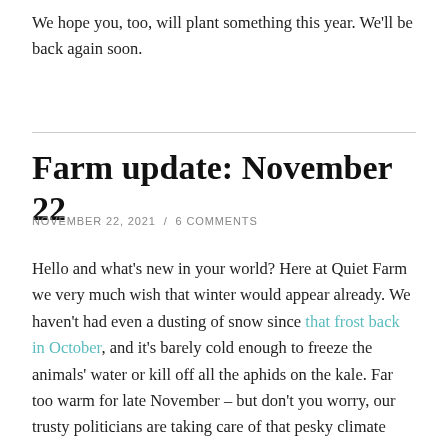We hope you, too, will plant something this year. We'll be back again soon.
Farm update: November 22
NOVEMBER 22, 2021 / 6 COMMENTS
Hello and what's new in your world? Here at Quiet Farm we very much wish that winter would appear already. We haven't had even a dusting of snow since that frost back in October, and it's barely cold enough to freeze the animals' water or kill off all the aphids on the kale. Far too warm for late November – but don't you worry, our trusty politicians are taking care of that pesky climate